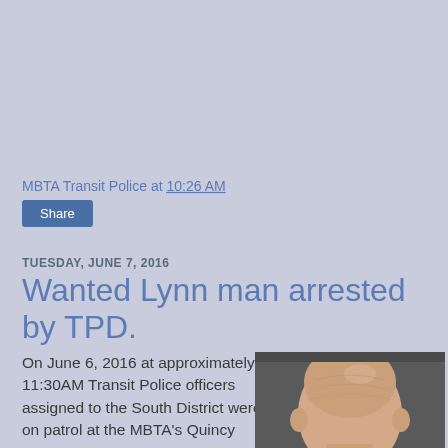MBTA Transit Police at 10:26 AM
Share
TUESDAY, JUNE 7, 2016
Wanted Lynn man arrested by TPD.
On June 6, 2016 at approximately 11:30AM Transit Police officers assigned to the South District were on patrol at the MBTA's Quincy Center
[Figure (photo): Mugshot photograph of a bald man, close-up head shot against dark background]